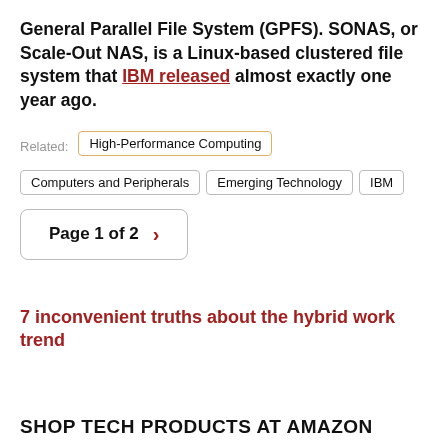General Parallel File System (GPFS). SONAS, or Scale-Out NAS, is a Linux-based clustered file system that IBM released almost exactly one year ago.
Related: High-Performance Computing
Computers and Peripherals
Emerging Technology
IBM
Page 1 of 2
7 inconvenient truths about the hybrid work trend
SHOP TECH PRODUCTS AT AMAZON